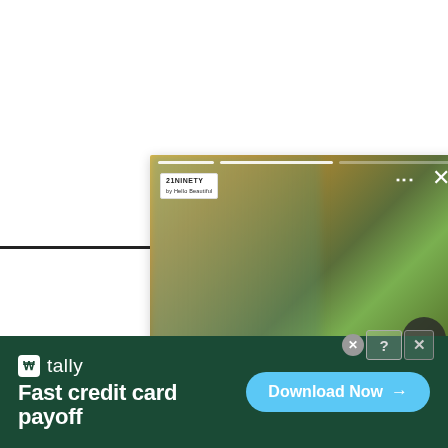[Figure (screenshot): A web article card/widget showing a woman in a yellow top and black hat standing outdoors. The card has a progress bar at the top, a logo badge, close and menu icons, a forward arrow button, and text below reading 'Airport Fly: How ToKeep YourSwag WhileTraveling- 21Ninety'.]
Airport Fly: How ToKeep YourSwag WhileTraveling- 21Ninety
[Figure (screenshot): An advertisement banner for 'tally' app with dark green background. Text reads: 'tally / Fast credit card payoff'. A blue 'Download Now' button with arrow is on the right. Close/help icons appear in the top right corner.]